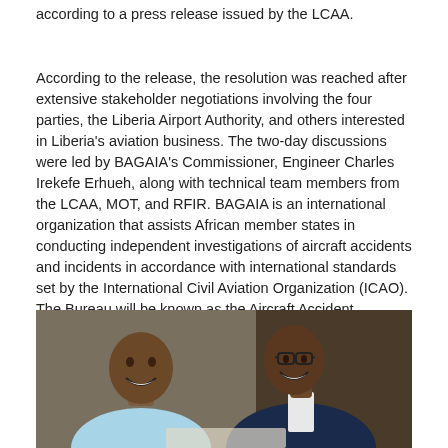according to a press release issued by the LCAA.
According to the release, the resolution was reached after extensive stakeholder negotiations involving the four parties, the Liberia Airport Authority, and others interested in Liberia's aviation business. The two-day discussions were led by BAGAIA's Commissioner, Engineer Charles Irekefe Erhueh, along with technical team members from the LCAA, MOT, and RFIR. BAGAIA is an international organization that assists African member states in conducting independent investigations of aircraft accidents and incidents in accordance with international standards set by the International Civil Aviation Organization (ICAO). The Bureau will be known as the Aircraft Accident Investigation Bureau (AAIB-Liberia) once it is created.
[Figure (photo): Two men sitting at a table, both smiling and laughing. The man on the left wears a light blue shirt, and the man on the right wears a dark navy blazer over a white shirt with glasses. They appear to be at a meeting or signing event.]